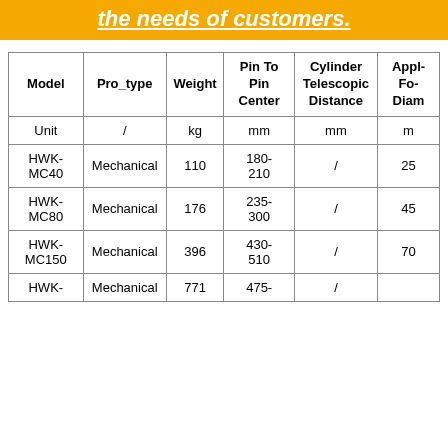the needs of customers.
| Model | Pro_type | Weight | Pin To Pin Center | Cylinder Telescopic Distance | Applic. Fork Diam. |
| --- | --- | --- | --- | --- | --- |
| Unit | / | kg | mm | mm | m |
| HWK-MC40 | Mechanical | 110 | 180-210 | / | 25 |
| HWK-MC80 | Mechanical | 176 | 235-300 | / | 45 |
| HWK-MC150 | Mechanical | 396 | 430-510 | / | 70 |
| HWK- | Mechanical | 771 | 475- | / |  |